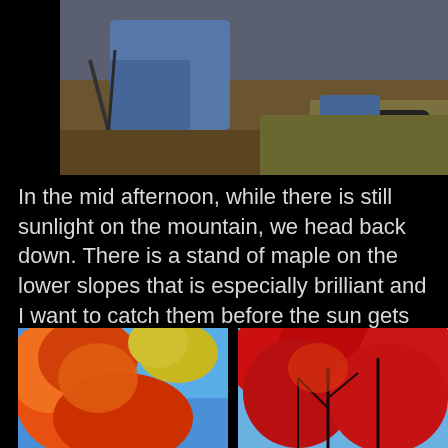[Figure (photo): Partial view of a person sitting outdoors in jeans, with dry ground and grass visible]
In the mid afternoon, while there is still sunlight on the mountain, we head back down. There is a stand of maple on the lower slopes that is especially brilliant and I want to catch them before the sun gets too low.
[Figure (photo): Looking up at brilliant red and orange maple trees against a bright blue sky]
[Figure (photo): Looking up at deep red maple trees with dark branches against a blue sky]